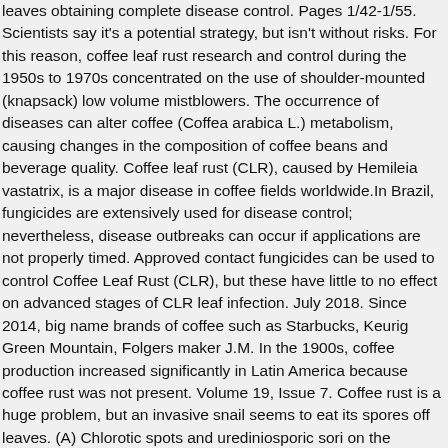leaves obtaining complete disease control. Pages 1/42-1/55. Scientists say it's a potential strategy, but isn't without risks. For this reason, coffee leaf rust research and control during the 1950s to 1970s concentrated on the use of shoulder-mounted (knapsack) low volume mistblowers. The occurrence of diseases can alter coffee (Coffea arabica L.) metabolism, causing changes in the composition of coffee beans and beverage quality. Coffee leaf rust (CLR), caused by Hemileia vastatrix, is a major disease in coffee fields worldwide.In Brazil, fungicides are extensively used for disease control; nevertheless, disease outbreaks can occur if applications are not properly timed. Approved contact fungicides can be used to control Coffee Leaf Rust (CLR), but these have little to no effect on advanced stages of CLR leaf infection. July 2018. Since 2014, big name brands of coffee such as Starbucks, Keurig Green Mountain, Folgers maker J.M. In the 1900s, coffee production increased significantly in Latin America because coffee rust was not present. Volume 19, Issue 7. Coffee rust is a huge problem, but an invasive snail seems to eat its spores off leaves. (A) Chlorotic spots and urediniosporic sori on the